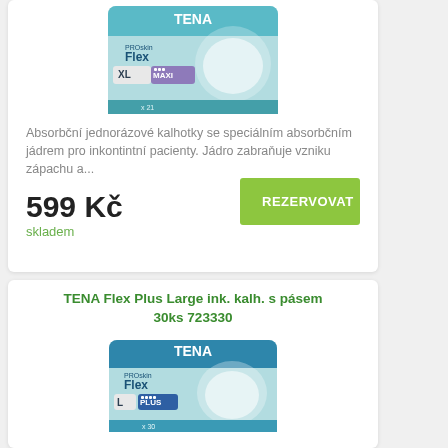[Figure (photo): TENA PROskin Flex XL MAXI product package photo]
Absorbční jednorázové kalhotky se speciálním absorbčním jádrem pro inkontintní pacienty. Jádro zabraňuje vzniku zápachu a...
599 Kč
skladem
REZERVOVAT
TENA Flex Plus Large ink. kalh. s pásem 30ks 723330
[Figure (photo): TENA PROskin Flex L PLUS product package photo]